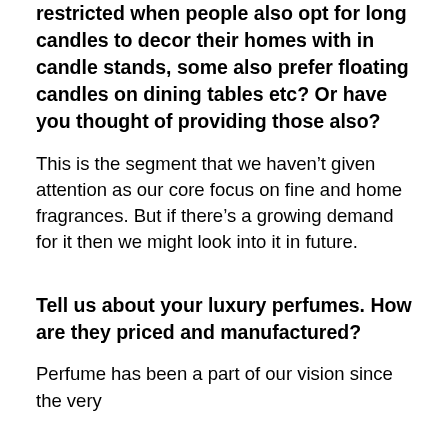restricted when people also opt for long candles to decor their homes with in candle stands, some also prefer floating candles on dining tables etc? Or have you thought of providing those also?
This is the segment that we haven't given attention as our core focus on fine and home fragrances. But if there's a growing demand for it then we might look into it in future.
Tell us about your luxury perfumes. How are they priced and manufactured?
Perfume has been a part of our vision since the very